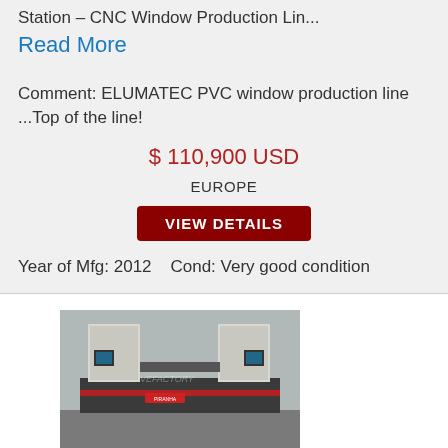Station – CNC Window Production Lin...
Read More
Comment: ELUMATEC PVC window production line ...Top of the line!
$ 110,900 USD
EUROPE
VIEW DETAILS
Year of Mfg: 2012    Cond: Very good condition
[Figure (photo): Industrial machine — appears to be a CNC or press machine with two vertical towers and a horizontal bed, photographed outdoors on a concrete surface.]